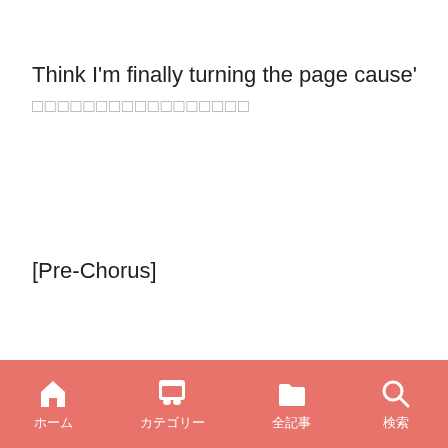Think I'm finally turning the page cause'
□□□□□□□□□□□□□□□□□
[Pre-Chorus]
I can finally live without a voice in my head and
ホーム　カテゴリー　全記事　検索